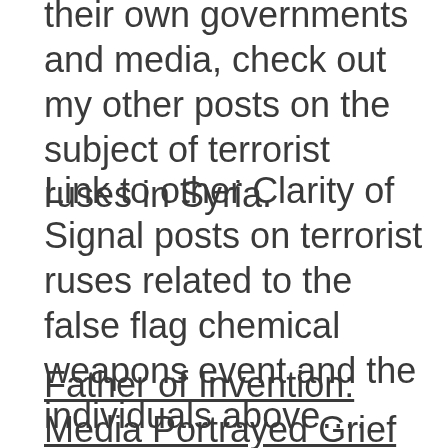their own governments and media, check out my other posts on the subject of terrorist ruses in Syria.
Link to other Clarity of Signal posts on terrorist ruses related to the false flag chemical weapons event and the individuals above….
Father of Invention: Media Portrayed Grief Stricken Dad Turns Out To Be al-Nusra Front